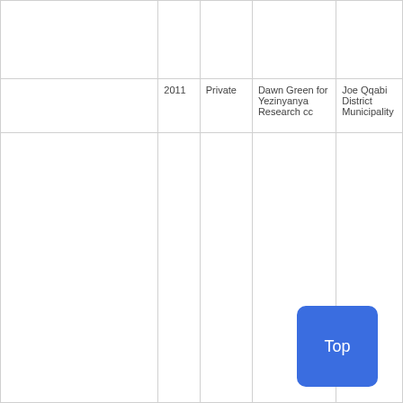|  | Year | Type | Researcher | Client |
| --- | --- | --- | --- | --- |
|  | 2011 | Private | Dawn Green for Yezinyanya Research cc | Joe Qqabi District Municipality |